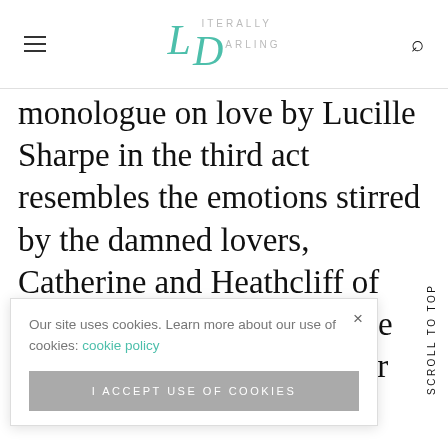Literally Darling
monologue on love by Lucille Sharpe in the third act resembles the emotions stirred by the damned lovers, Catherine and Heathcliff of “Wuthering Heights.” These are lovers who would rather cause     be    ear them   most
Our site uses cookies. Learn more about our use of cookies: cookie policy
I ACCEPT USE OF COOKIES
Scroll To Top